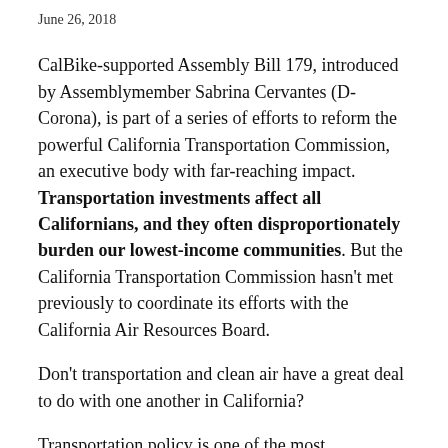June 26, 2018
CalBike-supported Assembly Bill 179, introduced by Assemblymember Sabrina Cervantes (D-Corona), is part of a series of efforts to reform the powerful California Transportation Commission, an executive body with far-reaching impact. Transportation investments affect all Californians, and they often disproportionately burden our lowest-income communities. But the California Transportation Commission hasn't met previously to coordinate its efforts with the California Air Resources Board.
Don't transportation and clean air have a great deal to do with one another in California?
Transportation policy is one of the most intersectional areas of governance, affecting everything from the job market to the air our children breathe. If our transportation system